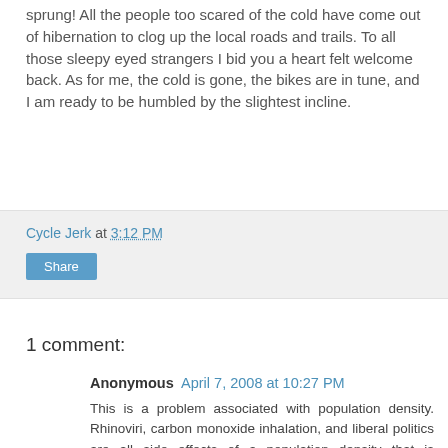sprung! All the people too scared of the cold have come out of hibernation to clog up the local roads and trails. To all those sleepy eyed strangers I bid you a heart felt welcome back. As for me, the cold is gone, the bikes are in tune, and I am ready to be humbled by the slightest incline.
Cycle Jerk at 3:12 PM
Share
1 comment:
Anonymous April 7, 2008 at 10:27 PM
This is a problem associated with population density. Rhinoviri, carbon monoxide inhalation, and liberal politics are all side effects of a population density that is unhealthily high.
Reply